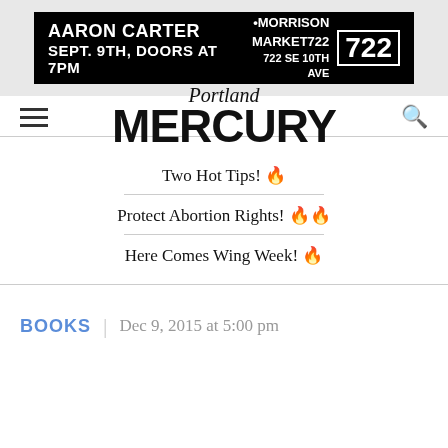[Figure (other): Black advertisement banner for Aaron Carter at Morrison Market 722. Text: AARON CARTER / SEPT. 9TH, DOORS AT 7PM / •MORRISON MARKET722 / 722 SE 10TH AVE with a stylized 722 logo box.]
[Figure (logo): Portland Mercury logo: 'Portland' in italic serif above 'MERCURY' in large bold sans-serif black text.]
Two Hot Tips! 🔥
Protect Abortion Rights! 🔥🔥
Here Comes Wing Week! 🔥
BOOKS | Dec 9, 2015 at 5:00 pm